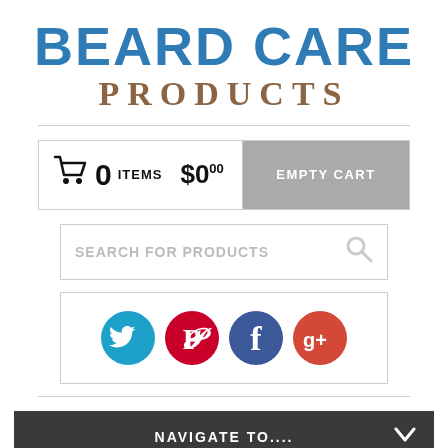BEARD CARE PRODUCTS
[Figure (screenshot): Shopping cart widget showing 0 items and $0.00 with an Empty Cart button]
[Figure (screenshot): Search bar with text 'SEARCH FOR PRODUCTS' and a search icon]
[Figure (screenshot): Social media icons for Twitter, Pinterest, Facebook, and Google Plus]
NAVIGATE TO....